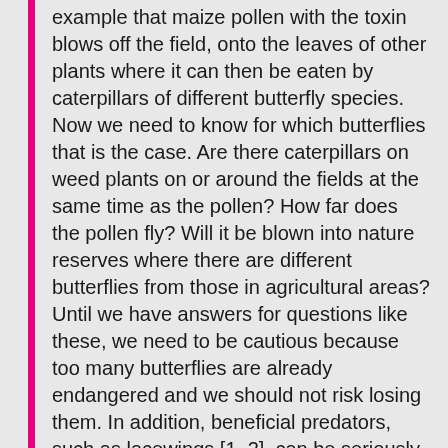example that maize pollen with the toxin blows off the field, onto the leaves of other plants where it can then be eaten by caterpillars of different butterfly species. Now we need to know for which butterflies that is the case. Are there caterpillars on weed plants on or around the fields at the same time as the pollen? How far does the pollen fly? Will it be blown into nature reserves where there are different butterflies from those in agricultural areas? Until we have answers for questions like these, we need to be cautious because too many butterflies are already endangered and we should not risk losing them. In addition, beneficial predators, such as lacewings [1, 2], can be seriously affected by eating caterpillars that have ingested Bt toxin.
So for many – and especially from a business point of view – the EU rules about GM crops might look like unnecessary